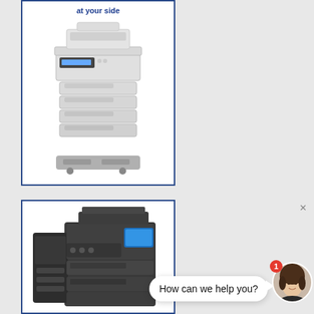[Figure (photo): White multi-function printer/copier with multiple paper trays and a document feeder, shown on a stand, inside a blue-bordered product card. Text at top reads 'at your side' in blue.]
[Figure (photo): Dark grey/black large office multifunction copier/printer with side finisher module, shown partially, inside a blue-bordered product card.]
How can we help you?
[Figure (photo): Chat widget showing a woman's avatar with a red notification badge showing '1' and a speech bubble saying 'How can we help you?'. A close button 'x' is in the top right.]